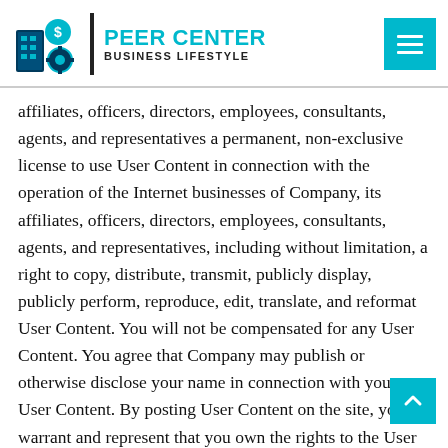PEER CENTER BUSINESS LIFESTYLE
affiliates, officers, directors, employees, consultants, agents, and representatives a permanent, non-exclusive license to use User Content in connection with the operation of the Internet businesses of Company, its affiliates, officers, directors, employees, consultants, agents, and representatives, including without limitation, a right to copy, distribute, transmit, publicly display, publicly perform, reproduce, edit, translate, and reformat User Content. You will not be compensated for any User Content. You agree that Company may publish or otherwise disclose your name in connection with your User Content. By posting User Content on the site, you warrant and represent that you own the rights to the User Content or are otherwise authorized to post, distribute, display, perform, transmit, or otherwise